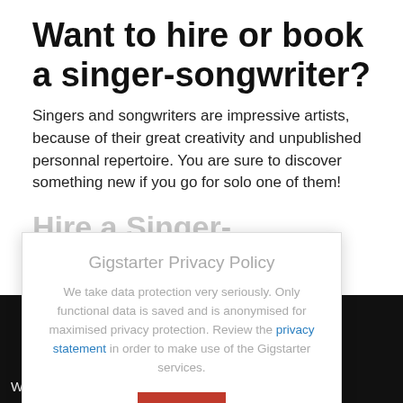Want to hire or book a singer-songwriter?
Singers and songwriters are impressive artists, because of their great creativity and unpublished personnal repertoire. You are sure to discover something new if you go for solo one of them!
Hire a Singer-songwriter
[Figure (screenshot): Privacy policy modal dialog overlay with title 'Gigstarter Privacy Policy', body text about data protection and link to privacy statement, and a red OK button]
Why sign up?